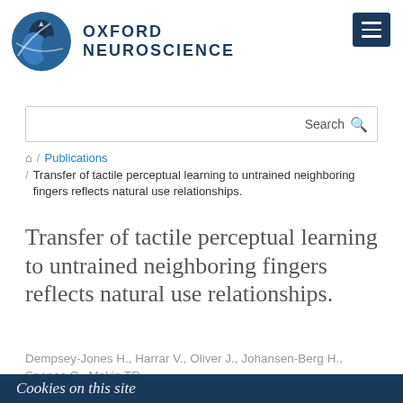[Figure (logo): Oxford Neuroscience logo with blue circular brain graphic and text OXFORD NEUROSCIENCE]
Oxford Neuroscience — menu button top right
Search
/ Publications / Transfer of tactile perceptual learning to untrained neighboring fingers reflects natural use relationships.
Transfer of tactile perceptual learning to untrained neighboring fingers reflects natural use relationships.
Dempsey-Jones H., Harrar V., Oliver J., Johansen-Berg H., Spence C., Makin TR.
Cookies on this site